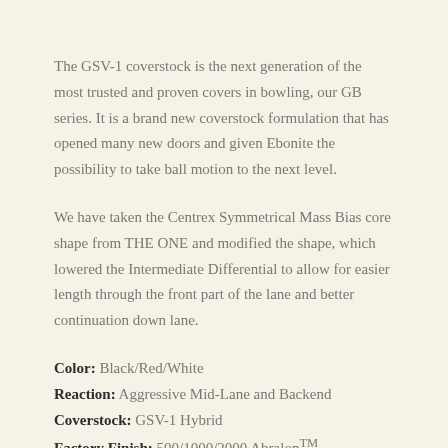The GSV-1 coverstock is the next generation of the most trusted and proven covers in bowling, our GB series. It is a brand new coverstock formulation that has opened many new doors and given Ebonite the possibility to take ball motion to the next level.
We have taken the Centrex Symmetrical Mass Bias core shape from THE ONE and modified the shape, which lowered the Intermediate Differential to allow for easier length through the front part of the lane and better continuation down lane.
Color: Black/Red/White
Reaction: Aggressive Mid-Lane and Backend
Coverstock: GSV-1 Hybrid
Factory Finish: 500/1000/2000 Abralon™